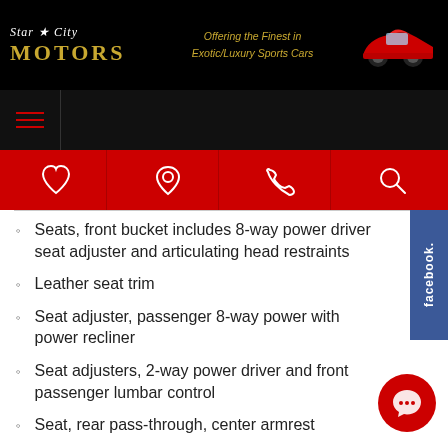Star City MOTORS — Offering the Finest in Exotic/Luxury Sports Cars
[Figure (screenshot): Navigation icon bar with heart, location pin, phone, and search icons on red background]
Seats, front bucket includes 8-way power driver seat adjuster and articulating head restraints
Leather seat trim
Seat adjuster, passenger 8-way power with power recliner
Seat adjusters, 2-way power driver and front passenger lumbar control
Seat, rear pass-through, center armrest
Armrest, front center